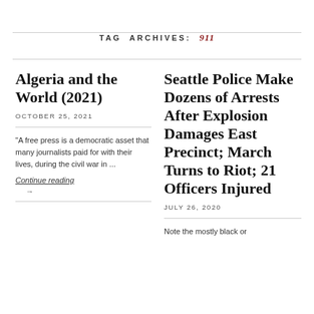TAG ARCHIVES: 911
Algeria and the World (2021)
OCTOBER 25, 2021
"A free press is a democratic asset that many journalists paid for with their lives, during the civil war in ...
Continue reading →
Seattle Police Make Dozens of Arrests After Explosion Damages East Precinct; March Turns to Riot; 21 Officers Injured
JULY 26, 2020
Note the mostly black or